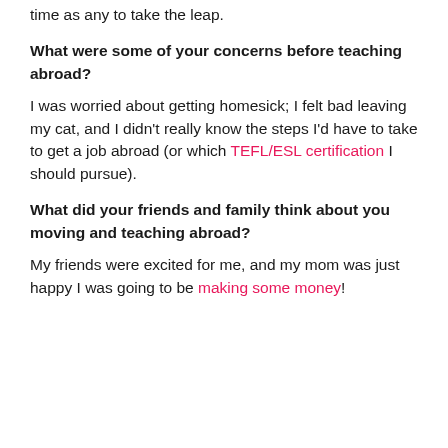time as any to take the leap.
What were some of your concerns before teaching abroad?
I was worried about getting homesick; I felt bad leaving my cat, and I didn't really know the steps I'd have to take to get a job abroad (or which TEFL/ESL certification I should pursue).
What did your friends and family think about you moving and teaching abroad?
My friends were excited for me, and my mom was just happy I was going to be making some money!